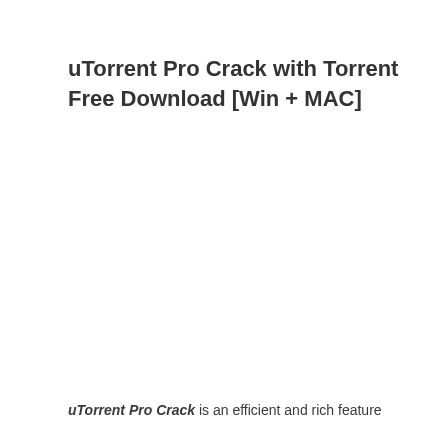uTorrent Pro Crack with Torrent Free Download [Win + MAC]
uTorrent Pro Crack is an efficient and rich feature